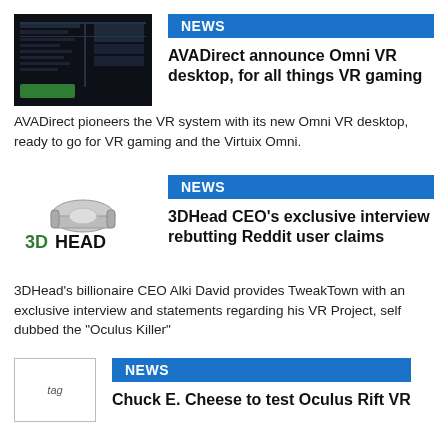[Figure (screenshot): AVADirect Omni VR desktop screenshot thumbnail - dark background with green accents]
NEWS
AVADirect announce Omni VR desktop, for all things VR gaming
AVADirect pioneers the VR system with its new Omni VR desktop, ready to go for VR gaming and the Virtuix Omni.
[Figure (logo): 3DHead logo with headset image above text]
NEWS
3DHead CEO's exclusive interview rebutting Reddit user claims
3DHead's billionaire CEO Alki David provides TweakTown with an exclusive interview and statements regarding his VR Project, self dubbed the "Oculus Killer"
[Figure (other): tag placeholder image]
NEWS
Chuck E. Cheese to test Oculus Rift VR